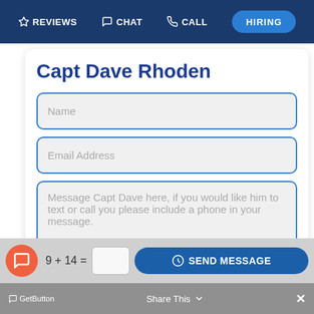REVIEWS  CHAT  CALL  HIRING
Capt Dave Rhoden
Name
Email Address
Message Capt Dave here, if you would like him to text or call you please include a phone in your message.
9 + 14 =
SEND MESSAGE
GetButton  Share This  ×